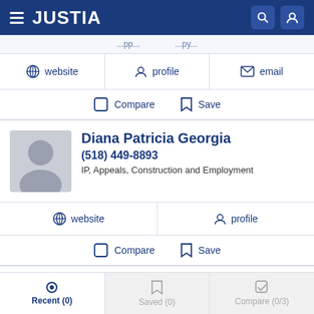JUSTIA
website   profile   email
Compare   Save
Diana Patricia Georgia
(518) 449-8893
IP, Appeals, Construction and Employment
website   profile
Compare   Save
Theresa Russo
Recent (0)   Saved (0)   Compare (0/3)